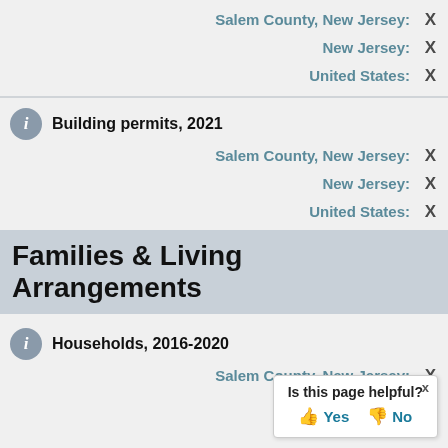Salem County, New Jersey: X
New Jersey: X
United States: X
Building permits, 2021
Salem County, New Jersey: X
New Jersey: X
United States: X
Families & Living Arrangements
Households, 2016-2020
Salem County, New Jersey: X
New Jersey: X
Is this page helpful? Yes No